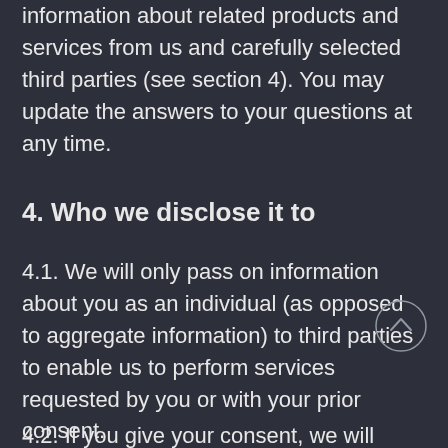information about related products and services from us and carefully selected third parties (see section 4). You may update the answers to your questions at any time.
4. Who we disclose it to
4.1. We will only pass on information about you as an individual (as opposed to aggregate information) to third parties to enable us to perform services requested by you or with your prior consent.
4.2. If you give your consent, we will